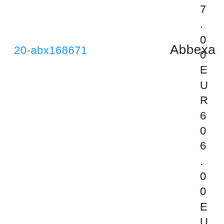20-abx168671
Abbexa
7 . 0 0 E U R 6 0 6 . 0 0 E U